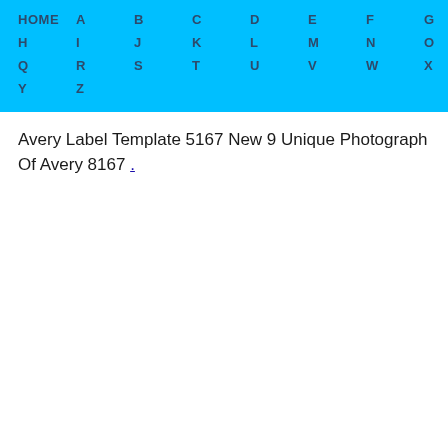HOME  A  B  C  D  E  F  G  H  I  J  K  L  M  N  O  P  Q  R  S  T  U  V  W  X  Y  Z
Avery Label Template 5167 New 9 Unique Photograph Of Avery 8167 .